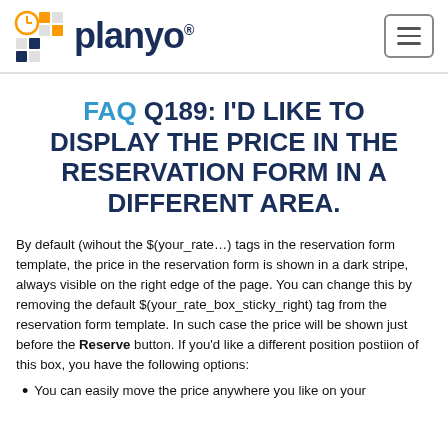planyo
FAQ Q189: I'D LIKE TO DISPLAY THE PRICE IN THE RESERVATION FORM IN A DIFFERENT AREA.
By default (wihout the $(your_rate…) tags in the reservation form template, the price in the reservation form is shown in a dark stripe, always visible on the right edge of the page. You can change this by removing the default $(your_rate_box_sticky_right) tag from the reservation form template. In such case the price will be shown just before the Reserve button. If you'd like a different position postiion of this box, you have the following options:
You can easily move the price anywhere you like on your